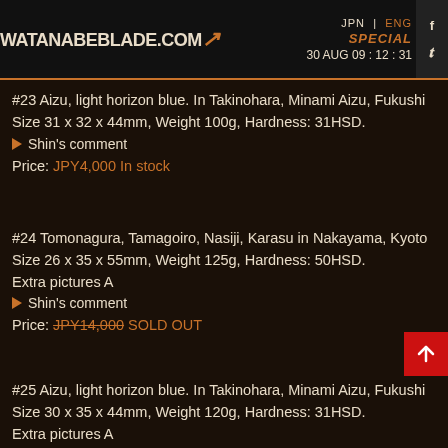WATANABEBLADE.COM | JPN | ENG | SPECIAL | 30 AUG 09 : 12 : 31
#23 Aizu, light horizon blue. In Takinohara, Minami Aizu, Fukushi
Size 31 x 32 x 44mm, Weight 100g, Hardness: 31HSD.
Shin's comment
Price: JPY4,000 In stock
#24 Tomonagura, Tamagoiro, Nasiji, Karasu in Nakayama, Kyoto
Size 26 x 35 x 55mm, Weight 125g, Hardness: 50HSD.
Extra pictures A
Shin's comment
Price: JPY14,000 SOLD OUT
#25 Aizu, light horizon blue. In Takinohara, Minami Aizu, Fukushi
Size 30 x 35 x 44mm, Weight 120g, Hardness: 31HSD.
Extra pictures A